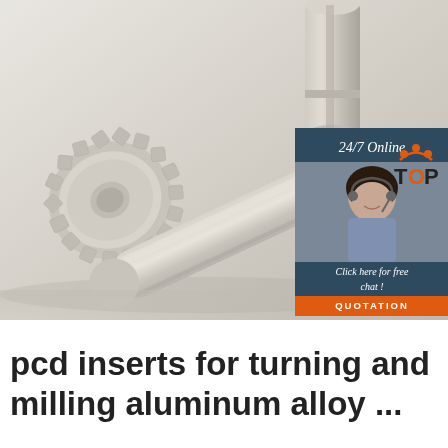[Figure (photo): Photograph of beige/tan colored PCD gear inserts and cylindrical shaft components for turning and milling, shown on a light grey background. An inset chat widget appears on the right side showing a smiling female customer service representative with a headset, with '24/7 Online' header, 'Click here for free chat!' text, and an orange 'QUOTATION' button.]
pcd inserts for turning and milling aluminum alloy ...